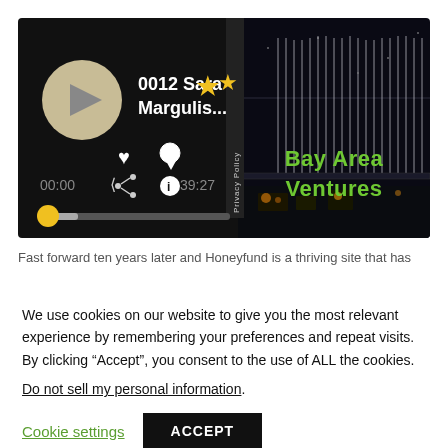[Figure (screenshot): Audio player interface with dark background showing episode '0012 Sara Margulis...' with a gold star, play button, heart/comment/share/info icons, time 00:00 / 39:27, and a progress bar. Right side shows a nighttime bridge photo with 'Bay Area Ventures' text in green. A vertical 'Privacy Policy' label appears in the center.]
Fast forward ten years later and Honeyfund is a thriving site that has
We use cookies on our website to give you the most relevant experience by remembering your preferences and repeat visits. By clicking “Accept”, you consent to the use of ALL the cookies.
Do not sell my personal information.
Cookie settings
ACCEPT